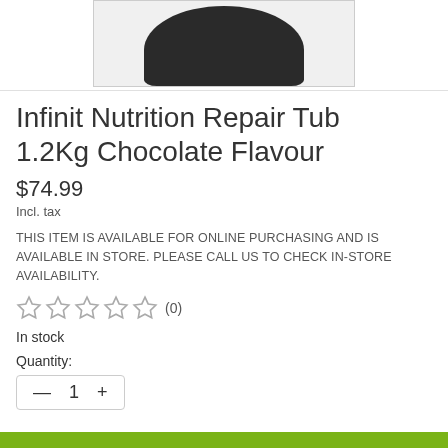[Figure (photo): Product image of a dark/black tub of Infinit Nutrition Repair Tub, partially cropped showing the top of the container]
Infinit Nutrition Repair Tub 1.2Kg Chocolate Flavour
$74.99
Incl. tax
THIS ITEM IS AVAILABLE FOR ONLINE PURCHASING AND IS AVAILABLE IN STORE. PLEASE CALL US TO CHECK IN-STORE AVAILABILITY.
[Figure (other): 5 empty/outline star rating icons followed by (0) review count]
In stock
Quantity:
— 1 +